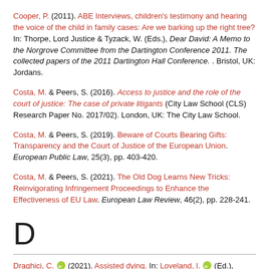Cooper, P. (2011). ABE Interviews, children's testimony and hearing the voice of the child in family cases: Are we barking up the right tree? In: Thorpe, Lord Justice & Tyzack, W. (Eds.), Dear David: A Memo to the Norgrove Committee from the Dartington Conference 2011. The collected papers of the 2011 Dartington Hall Conference. . Bristol, UK: Jordans.
Costa, M. & Peers, S. (2016). Access to justice and the role of the court of justice: The case of private litigants (City Law School (CLS) Research Paper No. 2017/02). London, UK: The City Law School.
Costa, M. & Peers, S. (2019). Beware of Courts Bearing Gifts: Transparency and the Court of Justice of the European Union. European Public Law, 25(3), pp. 403-420.
Costa, M. & Peers, S. (2021). The Old Dog Learns New Tricks: Reinvigorating Infringement Proceedings to Enhance the Effectiveness of EU Law. European Law Review, 46(2), pp. 228-241.
D
Draghici, C. [ORCID] (2021). Assisted dying. In: Loveland, I. [ORCID] (Ed.), British and Canadian Public Law in Comparative Perspective. (pp. 29-74). Hart Publishing.